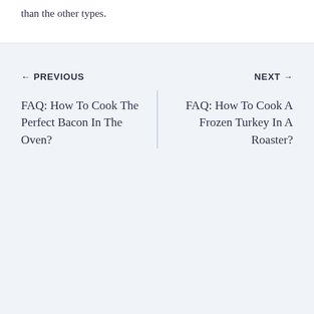than the other types.
← PREVIOUS
NEXT →
FAQ: How To Cook The Perfect Bacon In The Oven?
FAQ: How To Cook A Frozen Turkey In A Roaster?